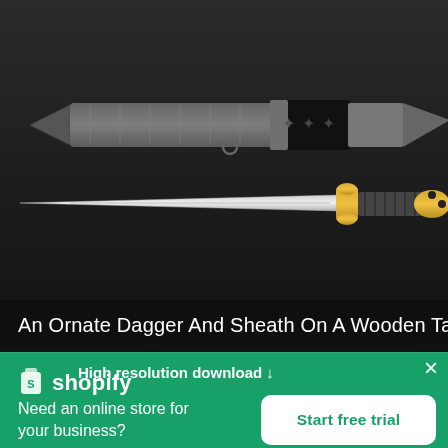[Figure (photo): An ornate dagger with gold crossguard and decorated sheath laid on a dark wooden table. The sheath has intricate metal engravings and fleur-de-lis decorations. The dagger blade is silver and the handle is gold-colored.]
An Ornate Dagger And Sheath On A Wooden Table
High resolution download ↓
[Figure (logo): Shopify logo: white shopping bag icon followed by 'shopify' text in white on green background]
Need an online store for your business?
Start free trial